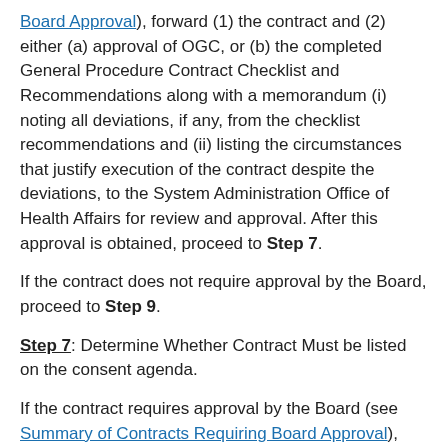Board Approval), forward (1) the contract and (2) either (a) approval of OGC, or (b) the completed General Procedure Contract Checklist and Recommendations along with a memorandum (i) noting all deviations, if any, from the checklist recommendations and (ii) listing the circumstances that justify execution of the contract despite the deviations, to the System Administration Office of Health Affairs for review and approval. After this approval is obtained, proceed to Step 7.
If the contract does not require approval by the Board, proceed to Step 9.
Step 7: Determine Whether Contract Must be listed on the consent agenda.
If the contract requires approval by the Board (see Summary of Contracts Requiring Board Approval), proceed to Step 8. If not, proceed to Step 9.